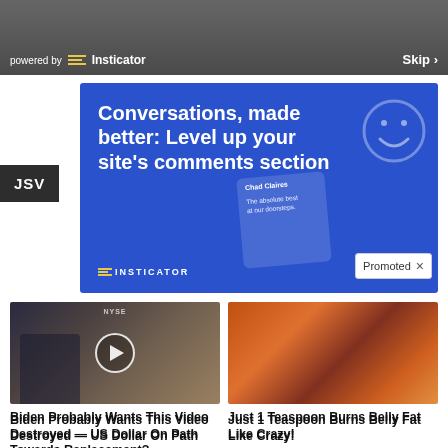[Figure (screenshot): Top bar showing 'powered by Insticator' on left and 'Skip >' on right, dark background]
JSV
[Figure (illustration): Blue Insticator promotional ad: 'Conversations, made better: Level up your site's comments section' with smiley face icon, phone mockup, and INSTICATOR branding. 'Promoted' badge with X in lower right corner.]
[Figure (photo): Video thumbnail showing man in dark suit on financial news set with NYSE in background, play button overlay]
Biden Probably Wants This Video Destroyed — US Dollar On Path Towards Replacement?
34,985
[Figure (photo): Photo of fit woman with abs and a spoon with orange spice powder]
Just 1 Teaspoon Burns Belly Fat Like Crazy!